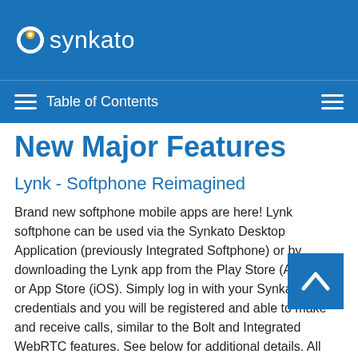synkato
Table of Contents
New Major Features
Lynk - Softphone Reimagined
Brand new softphone mobile apps are here! Lynk softphone can be used via the Synkato Desktop Application (previously Integrated Softphone) or by downloading the Lynk app from the Play Store (Android) or App Store (iOS). Simply log in with your Synkato credentials and you will be registered and able to make and receive calls, similar to the Bolt and Integrated WebRTC features. See below for additional details. All users must download the latest Desktop